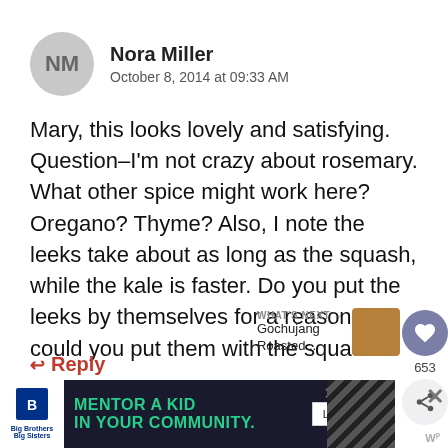NM
Nora Miller
October 8, 2014 at 09:33 AM
Mary, this looks lovely and satisfying. Question–I'm not crazy about rosemary. What other spice might work here? Oregano? Thyme? Also, I note the leeks take about as long as the squash, while the kale is faster. Do you put the leeks by themselves for a reason, or could you put them with the squash?
653
Reply
WHAT'S NEXT → Gochujang Roasted...
MENTOR A KID IN YOUR COMMUNITY.